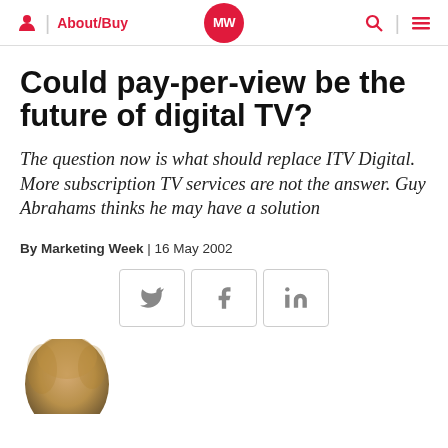About/Buy | MW | Search | Menu
Could pay-per-view be the future of digital TV?
The question now is what should replace ITV Digital. More subscription TV services are not the answer. Guy Abrahams thinks he may have a solution
By Marketing Week | 16 May 2002
[Figure (other): Social share buttons for Twitter, Facebook, and LinkedIn]
[Figure (photo): Partial photo of a person's head at the bottom of the page]